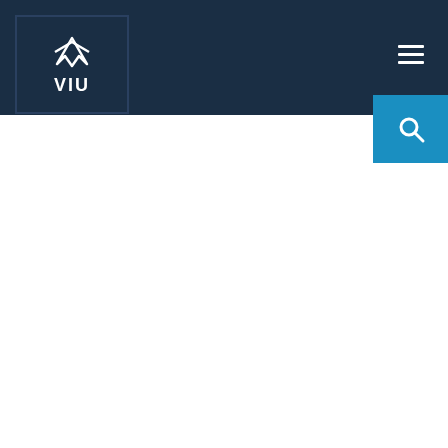geologist in both industry and government. She achieved her BSc degree in Earth and Ocean Science at the University of Victoria (2000), and her Master of Science degree in Earth Science (specializing in Archean tectonics, geochronology, and structural geology) at the University of Waterloo (2002). Sandra teaches GEOL 112, GEOL 115, GEOL 200, GEOL 206, GEOL 300, GEOL 308, GEOL 390, and has taught GEOL 470.
Gerri McEwen, Technician
Gerri McEwen has a BSc (Hons.) in Earth Sciences from the University of